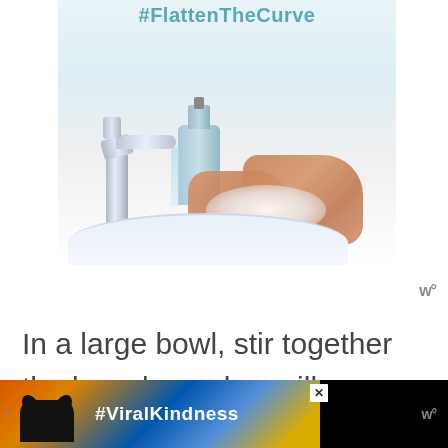[Figure (photo): Social media post image showing hands being washed with soap at a sink with a chrome faucet and blue soap dispenser, with hashtag #FlattenTheCurve at the top]
In a large bowl, stir together the bread crumbs, milk, ketchup, grated cheddar, green onion,
[Figure (photo): Advertisement banner with #ViralKindness hashtag showing heart-hands silhouette against colorful background, with close button and wordmark logo]